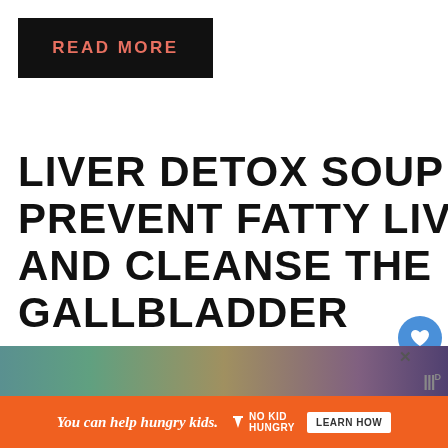[Figure (screenshot): READ MORE button banner with black background and salmon-colored text]
LIVER DETOX SOUP TO PREVENT FATTY LIVER AND CLEANSE THE GALLBLADDER
February 14, 2021 by Amber
[Figure (screenshot): WHAT'S NEXT arrow with thumbnail and text 'How to Detox a Fatty Liver...']
[Figure (photo): Partial view of food/soup photo at the bottom of the page]
[Figure (screenshot): Orange advertisement banner: 'You can help hungry kids.' No Kid Hungry logo, LEARN HOW button]